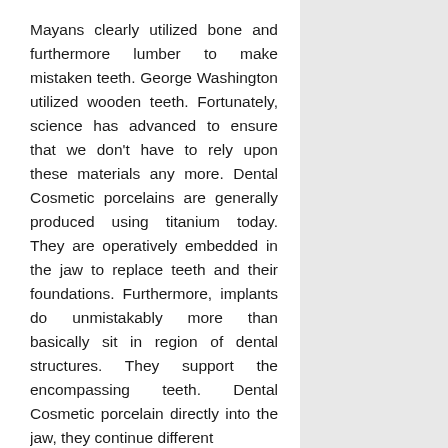Mayans clearly utilized bone and furthermore lumber to make mistaken teeth. George Washington utilized wooden teeth. Fortunately, science has advanced to ensure that we don't have to rely upon these materials any more. Dental Cosmetic porcelains are generally produced using titanium today. They are operatively embedded in the jaw to replace teeth and their foundations. Furthermore, implants do unmistakably more than basically sit in region of dental structures. They support the encompassing teeth. Dental Cosmetic porcelain directly into the jaw, they continue different